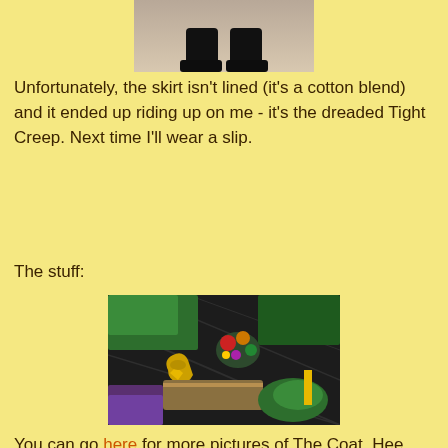[Figure (photo): Partial photo showing feet/legs at the top of the page, cut off]
Unfortunately, the skirt isn't lined (it's a cotton blend) and it ended up riding up on me - it's the dreaded Tight Creep. Next time I'll wear a slip.
The stuff:
[Figure (photo): Close-up photo of clothing items including a dark coat with decorative embroidered brooch, gold anchor pin, and green accessories laid out together]
You can go here for more pictures of The Coat. Hee, my cost per wear is down to $163.00. But now that the weather's cooler, I'll be wearing it more!
Coat (Desigual), blouse (Jacob, consignment), skirt